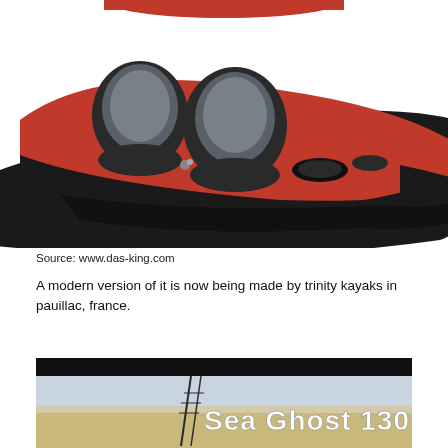[Figure (photo): Red and black two-seat sit-on-top kayak with padded seats, viewed from the side/above at an angle. The kayak has two gray padded backrests and a black hull with red sides.]
Source: www.das-king.com
A modern version of it is now being made by trinity kayaks in pauillac, france.
[Figure (photo): Screenshot of a Sea Ghost 130 kayak promotional image with large white stylized text reading 'Sea Ghost 130' on a background showing a beach/water scene.]